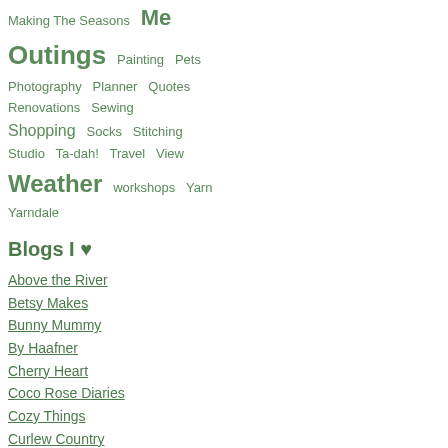Making The Seasons  Me Outings  Painting  Pets  Photography  Planner  Quotes  Renovations  Sewing  Shopping  Socks  Stitching  Studio  Ta-dah!  Travel  View  Weather  workshops  Yarn  Yarndale
Blogs I ♥
Above the River
Betsy Makes
Bunny Mummy
By Haafner
Cherry Heart
Coco Rose Diaries
Cozy Things
Curlew Country
Domesticali
Emma Lamb
Foxs Lane
Greedy For Colour
Hakenenmeer
Helen Phillips
Henhouse
Jane Foster Blog
Julia Crossland
[Figure (photo): Canal boat scene with a black and red narrowboat on a canal, a blue narrowboat behind it, green hedgerow, trees and a stone building in the background]
4. Life is good. It's bloomin' great actually
xxxxxxxxxxxxxxxxxxxxxxxxxxxxxx
ps two more things - lots of Yarndale new you to watch too, if you didn't make it to Y soon xxxxxxxxxxxxxxxxxxxxxxxxxxxxxx